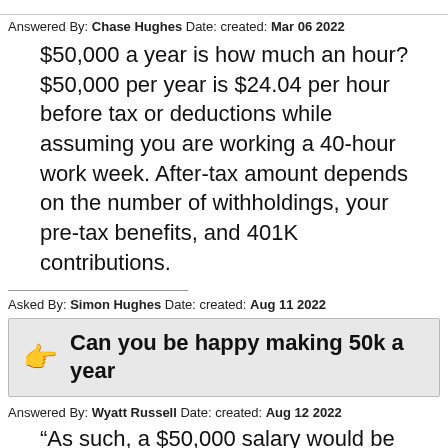Answered By: Chase Hughes Date: created: Mar 06 2022
$50,000 a year is how much an hour? $50,000 per year is $24.04 per hour before tax or deductions while assuming you are working a 40-hour work week. After-tax amount depends on the number of withholdings, your pre-tax benefits, and 401K contributions.
Asked By: Simon Hughes Date: created: Aug 11 2022
Can you be happy making 50k a year
Answered By: Wyatt Russell Date: created: Aug 12 2022
“As such, a $50,000 salary would be